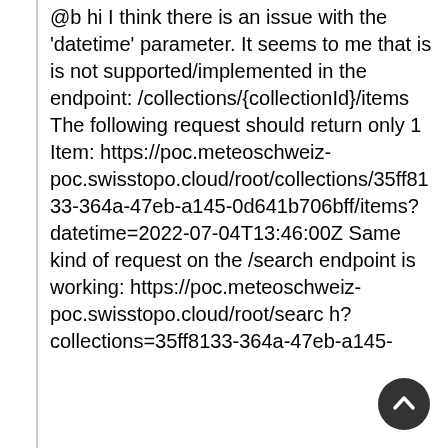@b hi I think there is an issue with the 'datetime' parameter. It seems to me that is is not supported/implemented in the endpoint: /collections/{collectionId}/items The following request should return only 1 Item: https://poc.meteoschweiz-poc.swisstopo.cloud/root/collections/35ff8133-364a-47eb-a145-0d641b706bff/items?datetime=2022-07-04T13:46:00Z Same kind of request on the /search endpoint is working: https://poc.meteoschweiz-poc.swisstopo.cloud/root/search?collections=35ff8133-364a-47eb-a145-